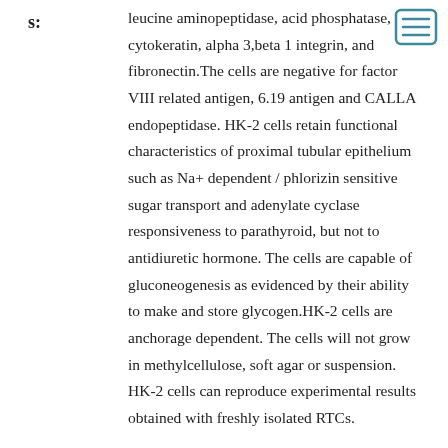s: leucine aminopeptidase, acid phosphatase, cytokeratin, alpha 3,beta 1 integrin, and fibronectin.The cells are negative for factor VIII related antigen, 6.19 antigen and CALLA endopeptidase. HK-2 cells retain functional characteristics of proximal tubular epithelium such as Na+ dependent / phlorizin sensitive sugar transport and adenylate cyclase responsiveness to parathyroid, but not to antidiuretic hormone. The cells are capable of gluconeogenesis as evidenced by their ability to make and store glycogen.HK-2 cells are anchorage dependent. The cells will not grow in methylcellulose, soft agar or suspension. HK-2 cells can reproduce experimental results obtained with freshly isolated RTCs.